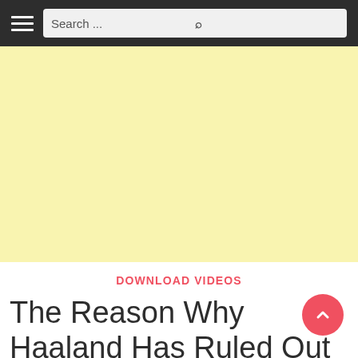Search ...
[Figure (other): Yellow advertisement banner placeholder]
DOWNLOAD VIDEOS
The Reason Why Haaland Has Ruled Out A Move To